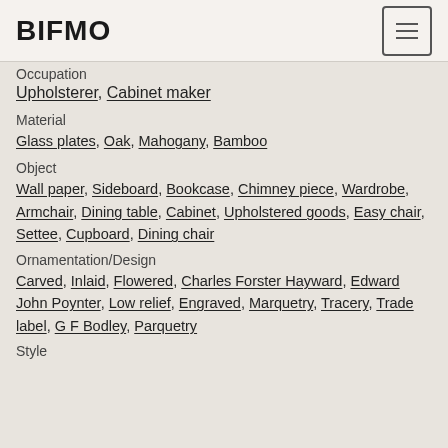BIFMO
Occupation
Upholsterer, Cabinet maker
Material
Glass plates, Oak, Mahogany, Bamboo
Object
Wall paper, Sideboard, Bookcase, Chimney piece, Wardrobe, Armchair, Dining table, Cabinet, Upholstered goods, Easy chair, Settee, Cupboard, Dining chair
Ornamentation/Design
Carved, Inlaid, Flowered, Charles Forster Hayward, Edward John Poynter, Low relief, Engraved, Marquetry, Tracery, Trade label, G F Bodley, Parquetry
Style